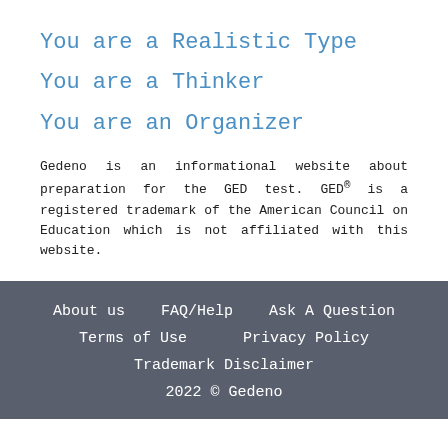You are a Realistic Type
You are a Thinker
You are an Organizer
Gedeno is an informational website about preparation for the GED test. GED® is a registered trademark of the American Council on Education which is not affiliated with this website.
About us  FAQ/Help  Ask A Question  Terms of Use  Privacy Policy  Trademark Disclaimer  2022 © Gedeno